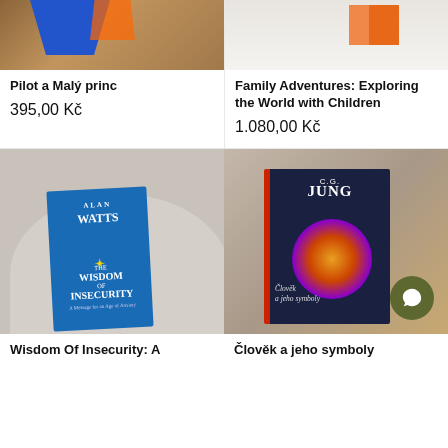[Figure (photo): Top-cropped photo of a blue origami/paper shape on a brown surface]
Pilot a Malý princ
395,00 Kč
[Figure (photo): Top-cropped photo of an orange/white book on a light background]
Family Adventures: Exploring the World with Children
1.080,00 Kč
[Figure (photo): Photo of Alan Watts 'The Wisdom of Insecurity' blue book on a beige surface]
Wisdom Of Insecurity: A
[Figure (photo): Photo of C.G. Jung 'Člověk a jeho symboly' dark navy book with mandala cover art on a surface]
Člověk a jeho symboly